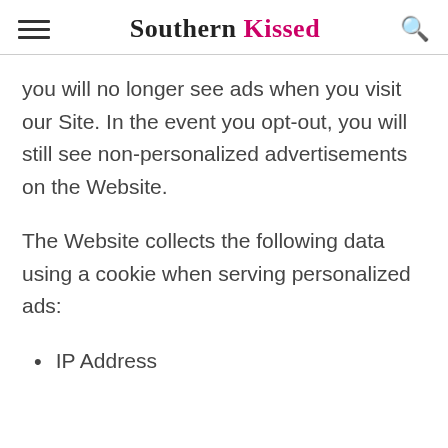Southern Kissed
you will no longer see ads when you visit our Site. In the event you opt-out, you will still see non-personalized advertisements on the Website.
The Website collects the following data using a cookie when serving personalized ads:
IP Address